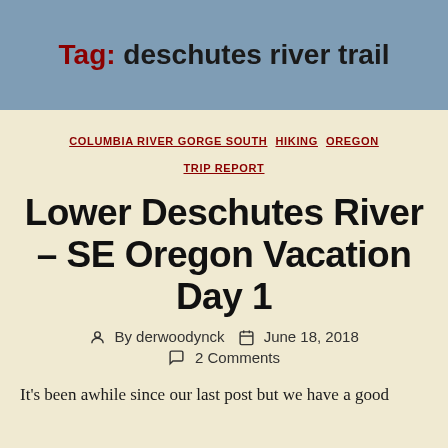Tag: deschutes river trail
COLUMBIA RIVER GORGE SOUTH   HIKING   OREGON   TRIP REPORT
Lower Deschutes River – SE Oregon Vacation Day 1
By derwoodynck   June 18, 2018   2 Comments
It's been awhile since our last post but we have a good